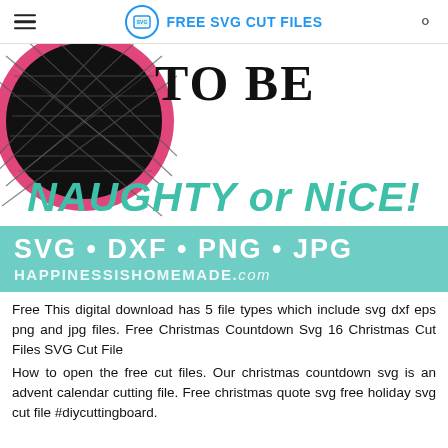FREE SVG CUT FILES
[Figure (illustration): Partial circular ornament (black cross-hatch with pink/magenta border) on left, with 'TO BE' in large bold serif black text and 'NAUGHTY or NICE!' in large teal italic font]
[Figure (infographic): Teal/mint green banner with white text: 'SVG • DXF • PNG • JPG' and 'HAPPINESSISHOMEMADE.com']
Free This digital download has 5 file types which include svg dxf eps png and jpg files. Free Christmas Countdown Svg 16 Christmas Cut Files SVG Cut File
How to open the free cut files. Our christmas countdown svg is an advent calendar cutting file. Free christmas quote svg free holiday svg cut file #diycuttingboard.